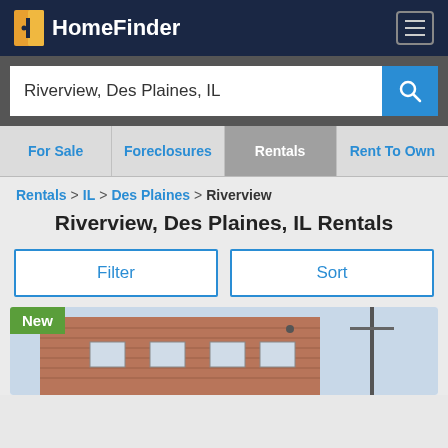HomeFinder
Riverview, Des Plaines, IL
For Sale
Foreclosures
Rentals
Rent To Own
Rentals > IL > Des Plaines > Riverview
Riverview, Des Plaines, IL Rentals
Filter
Sort
[Figure (photo): Photo of a brick building rental property with 'New' badge overlay]